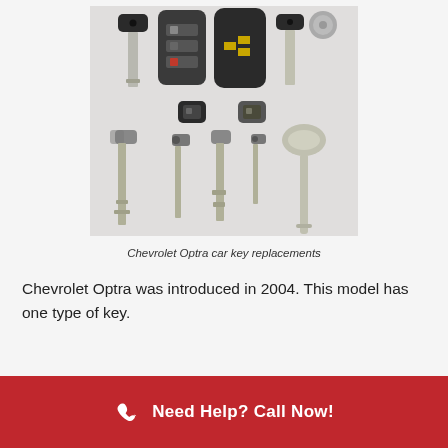[Figure (photo): Multiple Chevrolet Optra car key replacements including transponder keys, flip keys, smart keys, and blank mechanical keys arranged on a white surface]
Chevrolet Optra car key replacements
Chevrolet Optra was introduced in 2004. This model has one type of key.
Need Help? Call Now!